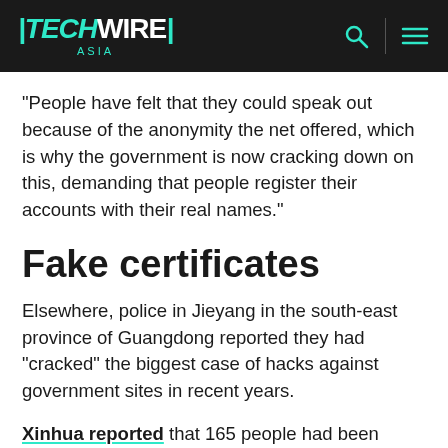TechWire Asia
“People have felt that they could speak out because of the anonymity the net offered, which is why the government is now cracking down on this, demanding that people register their accounts with their real names.”
Fake certificates
Elsewhere, police in Jieyang in the south-east province of Guangdong reported they had “cracked” the biggest case of hacks against government sites in recent years.
Xinhua reported that 165 people had been arrested